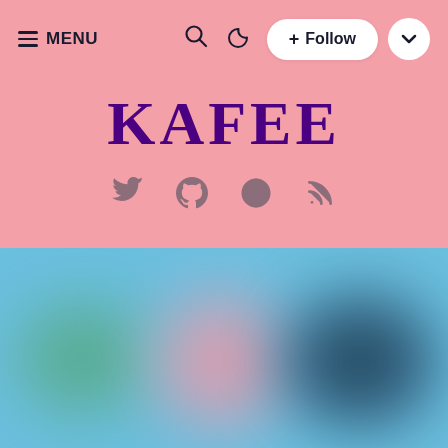≡ MENU  🔍  ☽  + Follow  ∨
KAFEE
[Figure (illustration): Four social media icons in a row: Twitter bird, GitHub octocat, globe/web icon, RSS feed icon — all in a muted mauve/brown color on pink background]
[Figure (illustration): Blurred color blobs on a sky blue background: a green blob on the left, a pink/rose blob in the center, and a dark navy blob on the right — appears to be blurred card thumbnails]